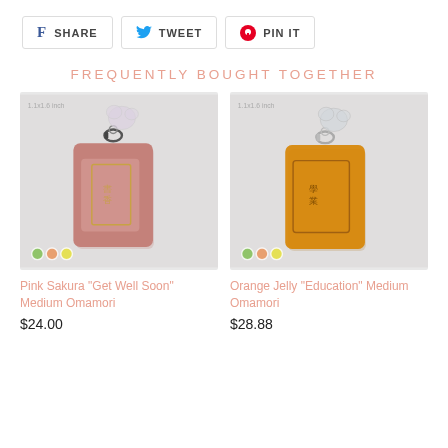[Figure (screenshot): Social share buttons row: Facebook Share, Twitter Tweet, Pinterest Pin It]
FREQUENTLY BOUGHT TOGETHER
[Figure (photo): Pink Sakura omamori charm keychain product photo with color swatches]
[Figure (photo): Orange Jelly omamori charm keychain product photo with color swatches]
Pink Sakura "Get Well Soon" Medium Omamori
$24.00
Orange Jelly "Education" Medium Omamori
$28.88